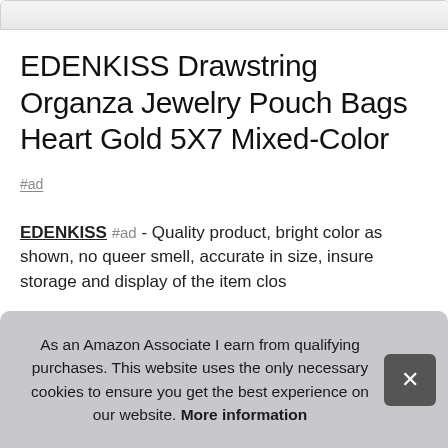[Figure (photo): Partial product image of organza jewelry pouch bags at top of page]
EDENKISS Drawstring Organza Jewelry Pouch Bags Heart Gold 5X7 Mixed-Color
#ad
EDENKISS #ad - Quality product, bright color as shown, no queer smell, accurate in size, insure storage and display of the item clos
As an Amazon Associate I earn from qualifying purchases. This website uses the only necessary cookies to ensure you get the best experience on our website. More information